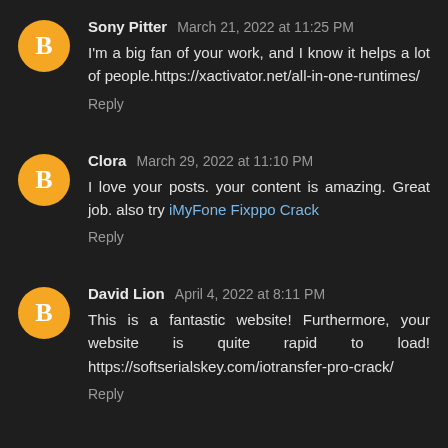Sony Pitter  March 21, 2022 at 11:25 PM
I'm a big fan of your work, and I know it helps a lot of people.https://xactivator.net/all-in-one-runtimes/
Reply
Clora  March 29, 2022 at 11:10 PM
I love your posts. your content is amazing. Great job. also try iMyFone Fixppo Crack
Reply
David Lion  April 4, 2022 at 8:11 PM
This is a fantastic website! Furthermore, your website is quite rapid to load! https://softserialskey.com/iotransfer-pro-crack/
Reply